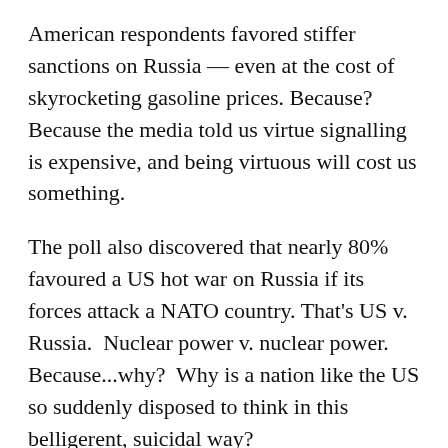American respondents favored stiffer sanctions on Russia — even at the cost of skyrocketing gasoline prices. Because? Because the media told us virtue signalling is expensive, and being virtuous will cost us something.
The poll also discovered that nearly 80% favoured a US hot war on Russia if its forces attack a NATO country. That's US v. Russia.  Nuclear power v. nuclear power.  Because...why?  Why is a nation like the US so suddenly disposed to think in this belligerent, suicidal way?
Here is one reason of many: emotional fictional narratives can replace reality if we start believing them as credible.
Putin's a beast; that poor victim Zelensky is a hero.  The whole world needs to war against Putin to kill him.  If